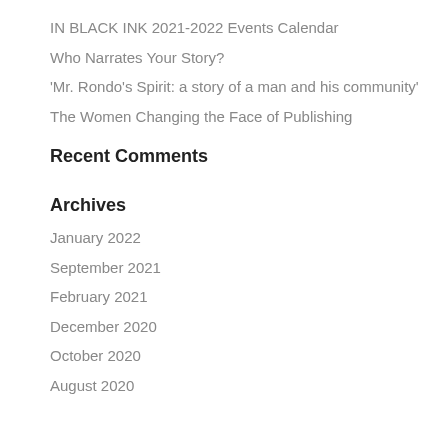IN BLACK INK 2021-2022 Events Calendar
Who Narrates Your Story?
'Mr. Rondo's Spirit: a story of a man and his community'
The Women Changing the Face of Publishing
Recent Comments
Archives
January 2022
September 2021
February 2021
December 2020
October 2020
August 2020